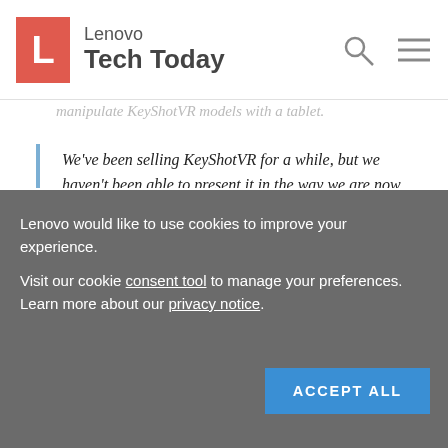Lenovo Tech Today
manipulate KeyShotVR models with a tablet.
We've been selling KeyShotVR for a while, but we haven't been able to present it in the way we are now. Before we started using the ThinkPad P40 Yoga, we had to open the models on laptops and use a mouse to move them around. Touch is the best way to interact with the models, but tablets out there now don't have enough power to run KeyShotVR. This has been the first computer that has let me do rendering work in
Lenovo would like to use cookies to improve your experience. Visit our cookie consent tool to manage your preferences. Learn more about our privacy notice.
ACCEPT ALL